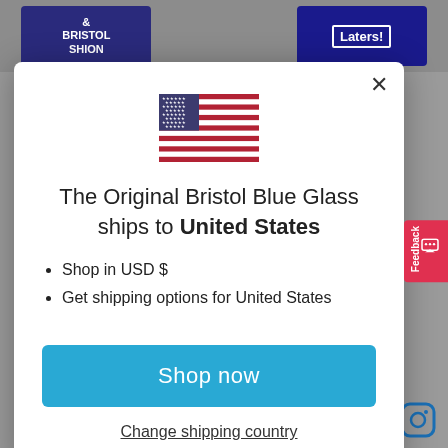[Figure (screenshot): US flag emoji shown in modal dialog]
The Original Bristol Blue Glass ships to United States
Shop in USD $
Get shipping options for United States
Shop now
Change shipping country
FOLLOW US ON INSTAGRAM